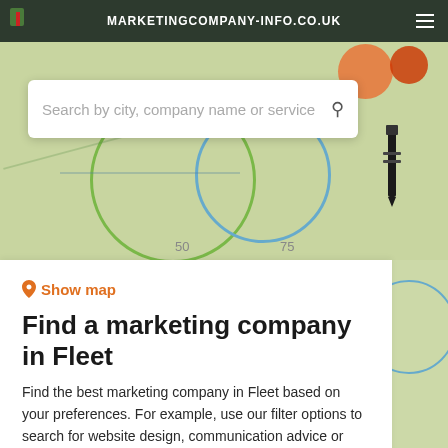MARKETINGCOMPANY-INFO.CO.UK
[Figure (screenshot): Map background with circular range indicators and decorative elements]
Search by city, company name or service
Show map
Find a marketing company in Fleet
Find the best marketing company in Fleet based on your preferences. For example, use our filter options to search for website design, communication advice or direct mail. In our Terms and Conditions you will find more information about how our search results are generated.
Filters